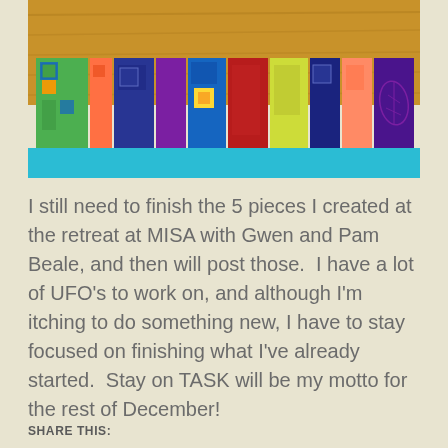[Figure (photo): A row of colorful quilted fabric squares/blocks in various colors including green, orange, blue, purple, yellow, red, lime green, and dark blue with quilted patterns, mounted on a teal border strip over a wood surface background.]
I still need to finish the 5 pieces I created at the retreat at MISA with Gwen and Pam Beale, and then will post those.  I have a lot of UFO’s to work on, and although I’m itching to do something new, I have to stay focused on finishing what I’ve already started.  Stay on TASK will be my motto for the rest of December!
SHARE THIS: